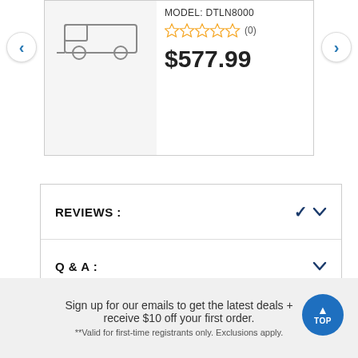MODEL: DTLN8000
☆☆☆☆☆ (0)
$577.99
REVIEWS :
Q & A :
Sign up for our emails to get the latest deals + receive $10 off your first order.
**Valid for first-time registrants only. Exclusions apply.